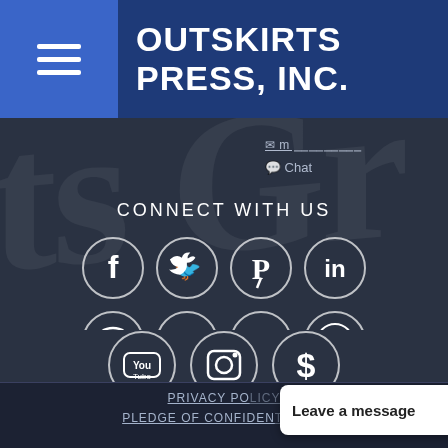OUTSKIRTS PRESS, INC.
Chat
CONNECT WITH US
[Figure (infographic): Social media icons row 1: Facebook, Twitter, Pinterest, LinkedIn]
[Figure (infographic): Social media icons row 2: Chat bubble, RSS, Blogger (B), WordPress]
[Figure (infographic): Social media icons row 3: YouTube, Instagram, Dollar sign]
PRIVACY POLICY
PLEDGE OF CONFIDENTIALITY
Leave a message